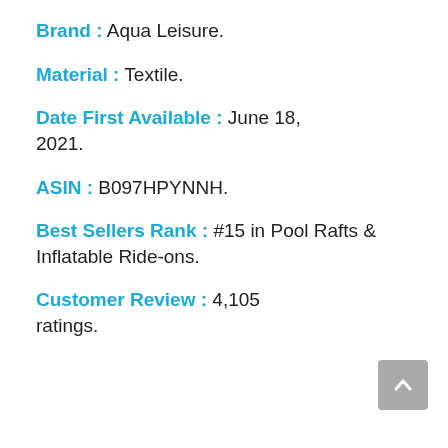Brand : Aqua Leisure.
Material : Textile.
Date First Available : June 18, 2021.
ASIN : B097HPYNNH.
Best Sellers Rank : #15 in Pool Rafts & Inflatable Ride-ons.
Customer Review : 4,105 ratings.